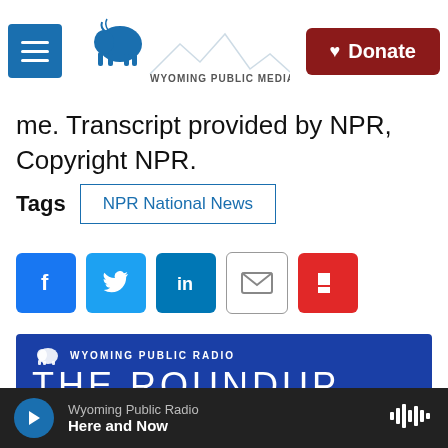Wyoming Public Media — Donate
me. Transcript provided by NPR, Copyright NPR.
Tags   NPR National News
[Figure (infographic): Social sharing buttons: Facebook, Twitter, LinkedIn, Email, Flipboard]
[Figure (infographic): Wyoming Public Radio — The Roundup banner. Blue background with bison logo and text THE ROUNDUP THIS WEEK IN WYOMING NEWS]
Wyoming Public Radio — Here and Now (audio player bar)